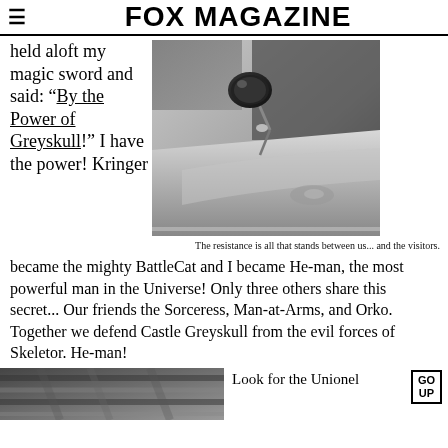FOX MAGAZINE
held aloft my magic sword and said: “By the Power of Greyskull!” I have the power! Kringer
[Figure (photo): Black and white close-up photo of a vintage car side mirror and door panel]
The resistance is all that stands between us... and the visitors.
became the mighty BattleCat and I became He-man, the most powerful man in the Universe! Only three others share this secret... Our friends the Sorceress, Man-at-Arms, and Orko. Together we defend Castle Greyskull from the evil forces of Skeletor. He-man!
[Figure (photo): Black and white photo partially visible at bottom left]
Look for the Union label